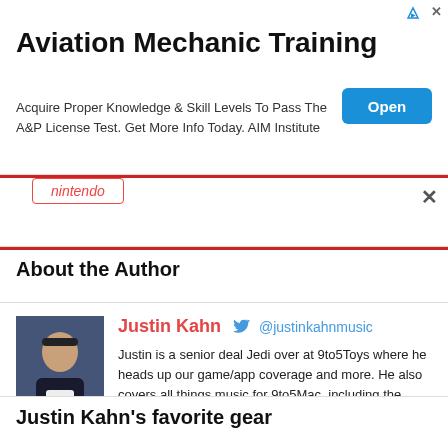[Figure (other): Advertisement banner for Aviation Mechanic Training with an Open button]
Aviation Mechanic Training
Acquire Proper Knowledge & Skill Levels To Pass The A&P License Test. Get More Info Today. AIM Institute
nintendo
About the Author
[Figure (photo): Photo of Justin Kahn, a young man wearing a black cap]
Justin Kahn  @justinkahnmusic
Justin is a senior deal Jedi over at 9to5Toys where he heads up our game/app coverage and more. He also covers all things music for 9to5Mac, including the weekly Logic Pros series exploring music production on Mac and iOS devices
Justin Kahn's favorite gear